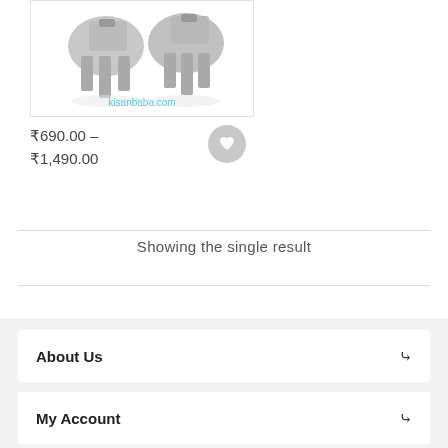[Figure (photo): Product photo of metal electrical components (transistors or similar), shown on white background with kisanbaba.com watermark]
₹690.00 – ₹1,490.00
Showing the single result
About Us
My Account